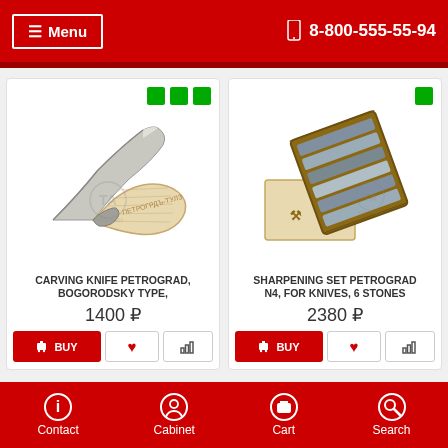≡ Menu  8-800-555-55-94
[Figure (photo): Carving knife Petrograd with wooden handle, Bogorodsky type, with watermark logo]
CARVING KNIFE PETROGRAD, BOGORODSKY TYPE,
1400 ₽
[Figure (photo): Sharpening set Petrograd N4 for knives, 6 stones in wooden case, with watermark logo]
SHARPENING SET PETROGRAD N4, FOR KNIVES, 6 STONES
2380 ₽
Contact  Cabinet  Cart  Search